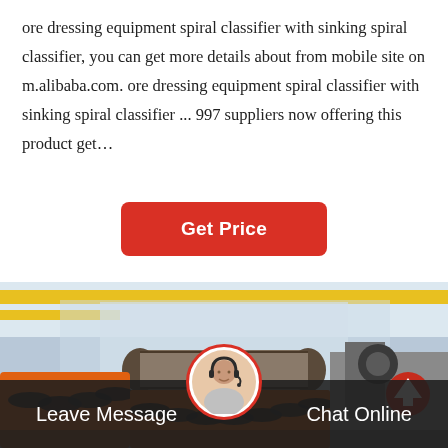ore dressing equipment spiral classifier with sinking spiral classifier, you can get more details about from mobile site on m.alibaba.com. ore dressing equipment spiral classifier with sinking spiral classifier ... 997 suppliers now offering this product get…
[Figure (other): Red 'Get Price' button]
[Figure (photo): Industrial factory photo showing spiral classifier equipment with orange frames and large cylindrical drum, inside a warehouse with yellow overhead cranes. A red circle with upward arrow visible on right side.]
Leave Message   Chat Online